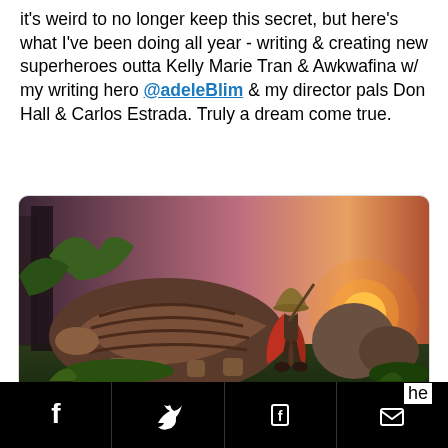it's weird to no longer keep this secret, but here's what I've been doing all year - writing & creating new superheroes outta Kelly Marie Tran & Awkwafina w/ my writing hero @adeleBlim & my director pals Don Hall & Carlos Estrada. Truly a dream come true.
[Figure (screenshot): Animated movie still from Raya and the Last Dragon showing a warrior in a red cape and conical hat standing beside a large armadillo-like creature, with a glowing sunset and lush forest landscape in the background]
ew.com
[Figure (infographic): Black bottom bar with social sharing icons: Facebook (f), Twitter (bird), Flipboard (f-square), Email (envelope)]